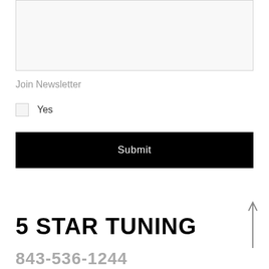[Figure (screenshot): A light gray textarea/input box, partially visible at the top of the page]
Join Newsletter
Yes
Submit
5 STAR TUNING
843-536-1244